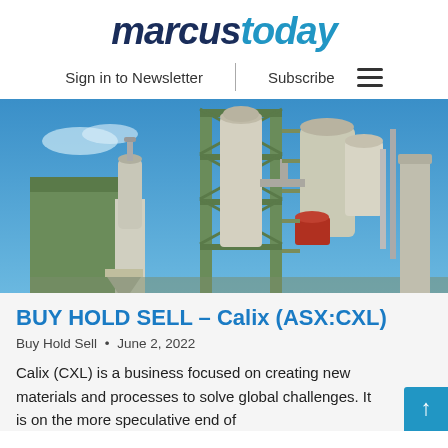marcustoday
Sign in to Newsletter   Subscribe
[Figure (photo): Industrial processing plant with metal silos, pipes, and a tall green steel-framed tower against a blue sky]
BUY HOLD SELL – Calix (ASX:CXL)
Buy Hold Sell • June 2, 2022
Calix (CXL) is a business focused on creating new materials and processes to solve global challenges. It is on the more speculative end of